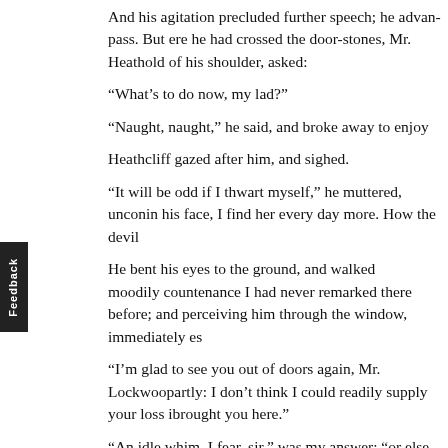And his agitation precluded further speech; he advan pass. But ere he had crossed the door-stones, Mr. Heat hold of his shoulder, asked:
“What’s to do now, my lad?”
“Naught, naught,” he said, and broke away to enjoy
Heathcliff gazed after him, and sighed.
“It will be odd if I thwart myself,” he muttered, uncon in his face, I find her every day more. How the devil
He bent his eyes to the ground, and walked moodily countenance I had never remarked there before; and perceiving him through the window, immediately es
“I’m glad to see you out of doors again, Mr. Lockwoo partly: I don’t think I could readily supply your loss i brought you here.”
“An idle whim, I fear, sir,” was my answer; “or else an London, next week; and I must give you warning the